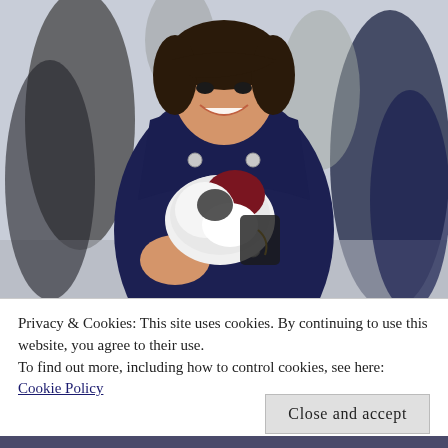[Figure (photo): A smiling young Asian woman in a navy double-breasted coat with silver buttons, holding a small black-and-white fluffy dog with a dark red accessory, standing outdoors with blurred people in the background.]
Privacy & Cookies: This site uses cookies. By continuing to use this website, you agree to their use.
To find out more, including how to control cookies, see here:
Cookie Policy
Close and accept